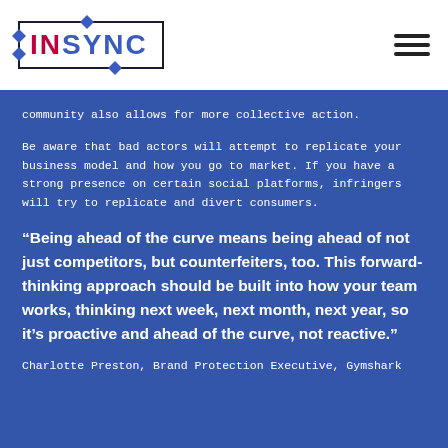[Figure (logo): INSYNC logo in a rectangular border with diamond decorative elements. IN in red/crimson, SYNC in blue.]
community also allows for more collective action.
Be aware that bad actors will attempt to replicate your business model and how you go to market. If you have a strong presence on certain social platforms, infringers will try to replicate and divert consumers.
“Being ahead of the curve means being ahead of not just competitors, but counterfeiters, too. This forward-thinking approach should be built into how your team works, thinking next week, next month, next year, so it’s proactive and ahead of the curve, not reactive.”
Charlotte Preston, Brand Protection Executive, Gymshark